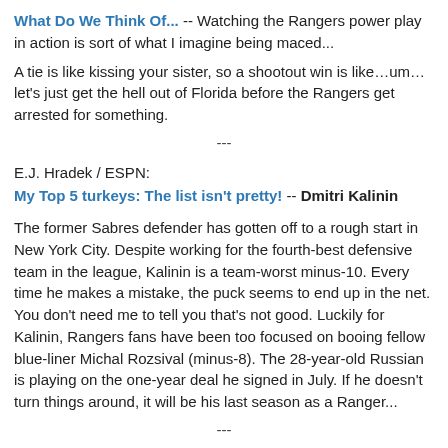What Do We Think Of... -- Watching the Rangers power play in action is sort of what I imagine being maced...
A tie is like kissing your sister, so a shootout win is like…um…let's just get the hell out of Florida before the Rangers get arrested for something.
---
E.J. Hradek / ESPN:
My Top 5 turkeys: The list isn't pretty! -- Dmitri Kalinin
The former Sabres defender has gotten off to a rough start in New York City. Despite working for the fourth-best defensive team in the league, Kalinin is a team-worst minus-10. Every time he makes a mistake, the puck seems to end up in the net. You don't need me to tell you that's not good. Luckily for Kalinin, Rangers fans have been too focused on booing fellow blue-liner Michal Rozsival (minus-8). The 28-year-old Russian is playing on the one-year deal he signed in July. If he doesn't turn things around, it will be his last season as a Ranger...
---
My Blueshirt Haven: